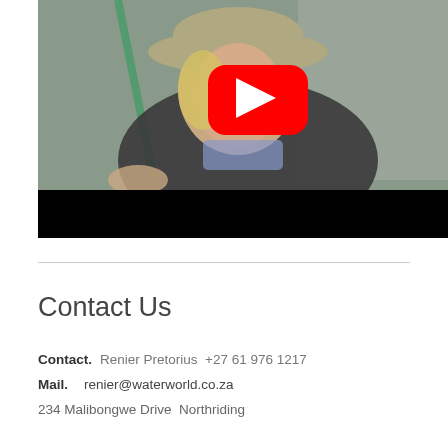[Figure (photo): A smiling woman wearing a wide-brimmed hat and dark t-shirt, holding what appears to be a fishing rod or pole, with a YouTube play button overlay in the center. The bottom portion of the image has a black bar (video player controls area).]
Contact Us
Contact: Renier Pretorius +27 61 976 1217
Mail: renier@waterworld.co.za
234 Malibongwe Drive Northriding